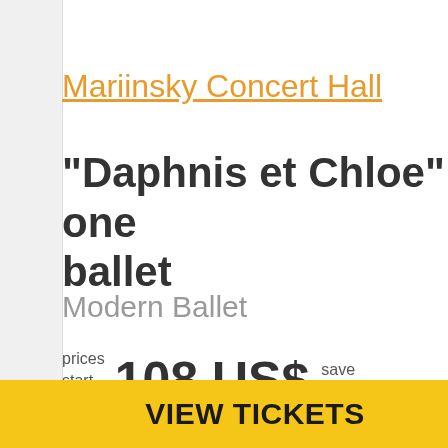Mariinsky Concert Hall
"Daphnis et Chloe" one ballet
Modern Ballet
prices start from  108 US$  save up to
VIEW TICKETS